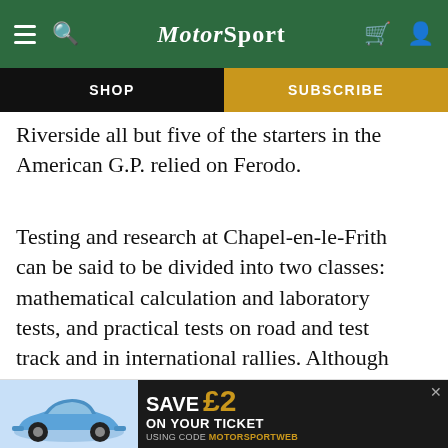Motor Sport
SHOP
SUBSCRIBE
Riverside all but five of the starters in the American G.P. relied on Ferodo.
Testing and research at Chapel-en-le-Frith can be said to be divided into two classes: mathematical calculation and laboratory tests, and practical tests on road and test track and in international rallies. Although the mathematical assessments are almost foolproof, Ferodo find it very beneficial to confirm theoretical and laboratory results by hard driving on the road.
They ... many diffe...
[Figure (advertisement): SAVE £2 ON YOUR TICKET USING CODE MOTORSPORTWEB with blue Porsche car image]